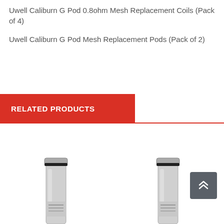Uwell Caliburn G Pod 0.8ohm Mesh Replacement Coils (Pack of 4)
Uwell Caliburn G Pod Mesh Replacement Pods (Pack of 2)
RELATED PRODUCTS
[Figure (photo): Two Uwell replacement coil products shown at the bottom of the page, partially cropped]
[Figure (other): Scroll-to-top button with double chevron up arrow]